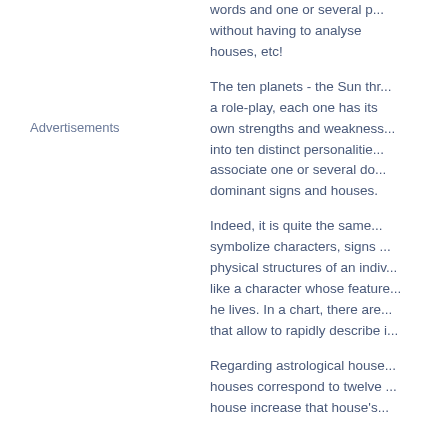Advertisements
words and one or several p... without having to analyse ... houses, etc!
The ten planets - the Sun thr... a role-play, each one has its own strengths and weakness... into ten distinct personalitie... associate one or several do... dominant signs and houses.
Indeed, it is quite the same... symbolize characters, signs ... physical structures of an indiv... like a character whose feature... he lives. In a chart, there are... that allow to rapidly describe i...
Regarding astrological house... houses correspond to twelve ... house increase that house's...